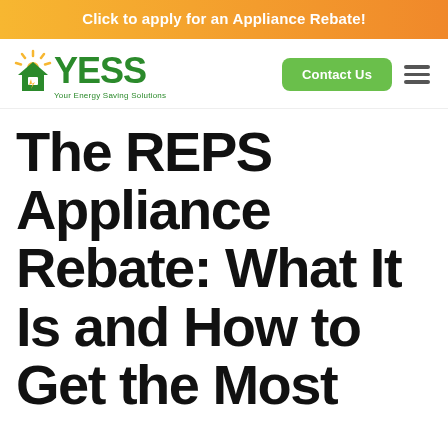Click to apply for an Appliance Rebate!
[Figure (logo): YESS - Your Energy Saving Solutions logo with sun/house icon]
The REPS Appliance Rebate: What It Is and How to Get the Most